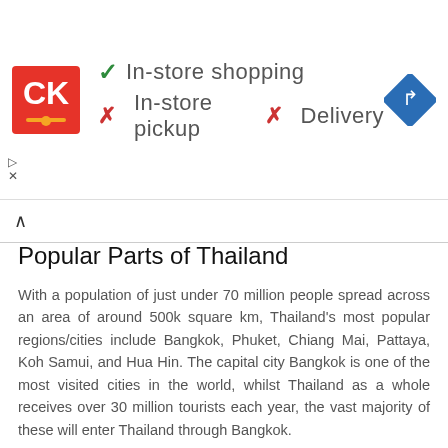[Figure (screenshot): Advertisement banner showing Circle K logo with in-store shopping (checkmark), in-store pickup (X), and Delivery (X), plus a navigation/directions icon on the right]
Popular Parts of Thailand
With a population of just under 70 million people spread across an area of around 500k square km, Thailand's most popular regions/cities include Bangkok, Phuket, Chiang Mai, Pattaya, Koh Samui, and Hua Hin. The capital city Bangkok is one of the most visited cities in the world, whilst Thailand as a whole receives over 30 million tourists each year, the vast majority of these will enter Thailand through Bangkok.
As Bangkok is the only urbanized region mentioned, all others are centered around island/beach life, with the exception of Chiang Mai, set in the northern Thailand jungle.
Weather and Climate in Thailand
Known for its truly tropical climate and scorching temperatures